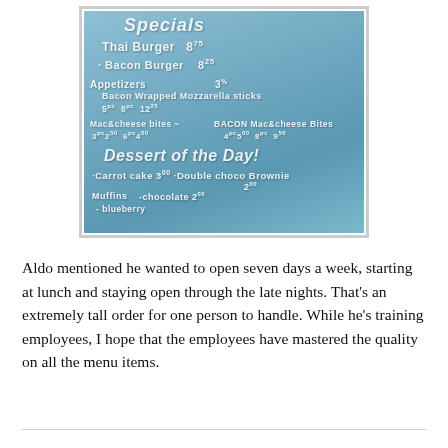[Figure (photo): A chalkboard sign on a restaurant window listing specials: Thai Burger 8.75, Bacon Burger 8.25, Appetizers, Bacon Wrapped Mozzarella Sticks, Mac & Cheese Bites, BACON Mac & Cheese Bites, Dessert of the Day: Carrot Cake 3.00, Double Choco Brownie 2.00, Muffins (chocolate 2.00, blueberry)]
Aldo mentioned he wanted to open seven days a week, starting at lunch and staying open through the late nights. That's an extremely tall order for one person to handle. While he's training employees, I hope that the employees have mastered the quality on all the menu items.